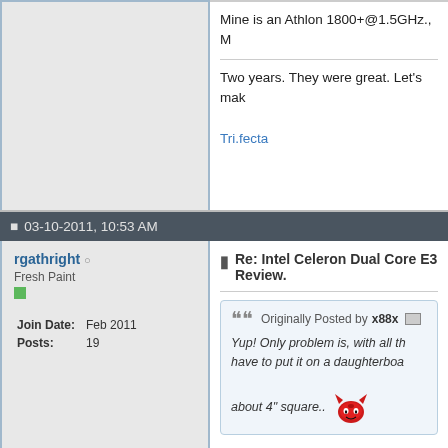Mine is an Athlon 1800+@1.5GHz., M
Two years. They were great. Let's mak
Tri.fecta
03-10-2011, 10:53 AM
rgathright
Fresh Paint
Join Date: Feb 2011
Posts: 19
Re: Intel Celeron Dual Core E3 Review.
Originally Posted by x88x
Yup! Only problem is, with all th have to put it on a daughterboa about 4" square..
Junktastic.